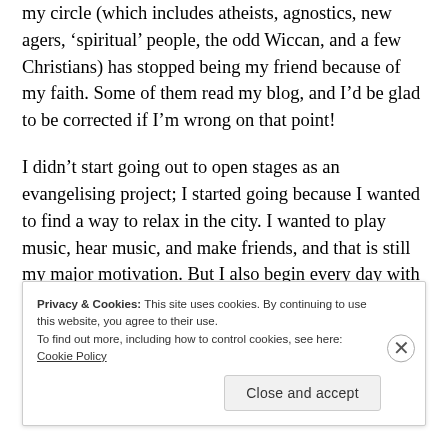my circle (which includes atheists, agnostics, new agers, 'spiritual' people, the odd Wiccan, and a few Christians) has stopped being my friend because of my faith. Some of them read my blog, and I'd be glad to be corrected if I'm wrong on that point!
I didn't start going out to open stages as an evangelising project; I started going because I wanted to find a way to relax in the city. I wanted to play music, hear music, and make friends, and that is still my major motivation. But I also begin every day with a prayer that God would
Privacy & Cookies: This site uses cookies. By continuing to use this website, you agree to their use.
To find out more, including how to control cookies, see here: Cookie Policy